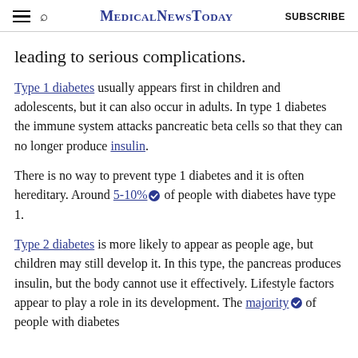MedicalNewsToday  SUBSCRIBE
leading to serious complications.
Type 1 diabetes usually appears first in children and adolescents, but it can also occur in adults. In type 1 diabetes the immune system attacks pancreatic beta cells so that they can no longer produce insulin.
There is no way to prevent type 1 diabetes and it is often hereditary. Around 5-10% of people with diabetes have type 1.
Type 2 diabetes is more likely to appear as people age, but children may still develop it. In this type, the pancreas produces insulin, but the body cannot use it effectively. Lifestyle factors appear to play a role in its development. The majority of people with diabetes